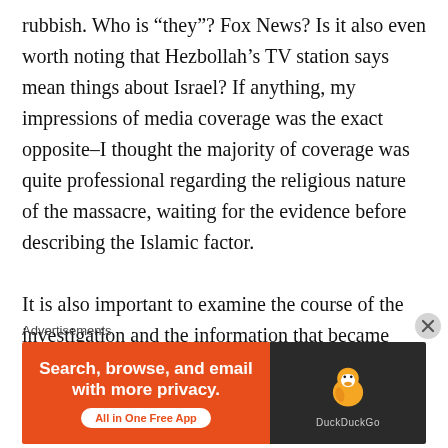rubbish. Who is “they”? Fox News? Is it also even worth noting that Hezbollah’s TV station says mean things about Israel? If anything, my impressions of media coverage was the exact opposite–I thought the majority of coverage was quite professional regarding the religious nature of the massacre, waiting for the evidence before describing the Islamic factor.
It is also important to examine the course of the investigation and the information that became available after the shooting, which in this day and age was quite substantial even within 24 hours. While calling his actions “jihad” might be
Advertisements
[Figure (infographic): DuckDuckGo advertisement banner. Left orange section: 'Search, browse, and email with more privacy. All in One Free App'. Right dark section: DuckDuckGo duck logo and brand name.]